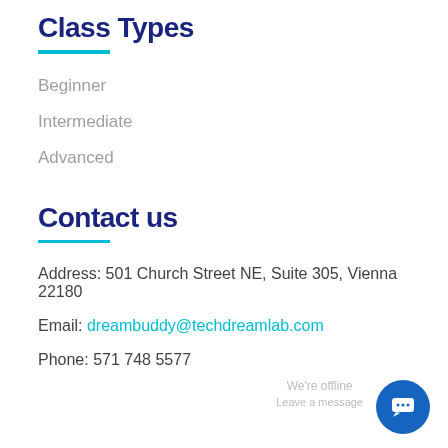Class Types
Beginner
Intermediate
Advanced
Contact us
Address: 501 Church Street NE, Suite 305, Vienna 22180
Email: dreambuddy@techdreamlab.com
Phone: 571 748 5577